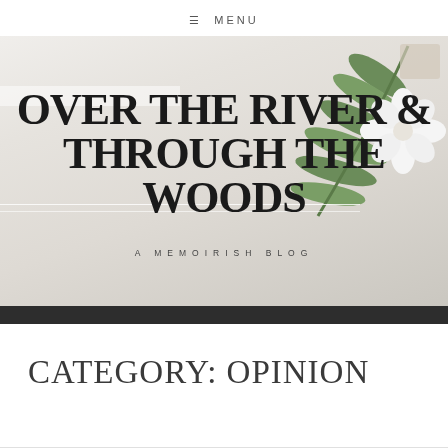☰ MENU
[Figure (photo): Blog header hero image with light gray/white flatlay background, green palm leaf and white flower in top right, large serif title text overlay reading OVER THE RIVER & THROUGH THE WOODS, subtitle A MEMOIRISH BLOG]
OVER THE RIVER & THROUGH THE WOODS
A MEMOIRISH BLOG
CATEGORY: OPINION